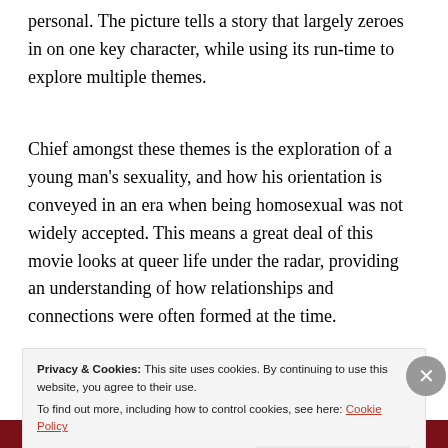personal. The picture tells a story that largely zeroes in on one key character, while using its run-time to explore multiple themes.
Chief amongst these themes is the exploration of a young man's sexuality, and how his orientation is conveyed in an era when being homosexual was not widely accepted. This means a great deal of this movie looks at queer life under the radar, providing an understanding of how relationships and connections were often formed at the time.
The idea of looking at queer life in this era is the
Privacy & Cookies: This site uses cookies. By continuing to use this website, you agree to their use.
To find out more, including how to control cookies, see here: Cookie Policy
Close and accept